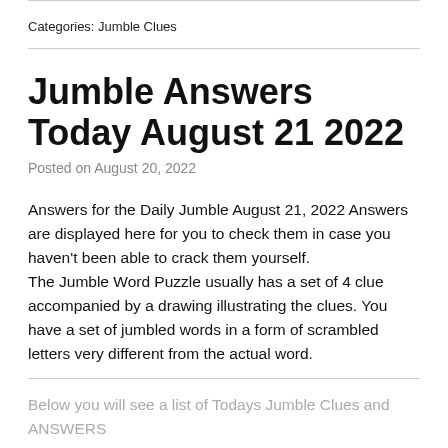Categories: Jumble Clues
Jumble Answers Today August 21 2022
Posted on August 20, 2022
Answers for the Daily Jumble August 21, 2022 Answers are displayed here for you to check them in case you haven't been able to crack them yourself.
The Jumble Word Puzzle usually has a set of 4 clue accompanied by a drawing illustrating the clues. You have a set of jumbled words in a form of scrambled letters very different from the actual word.
Below you will see a list of Todays Jumble Clues and ANSWERS